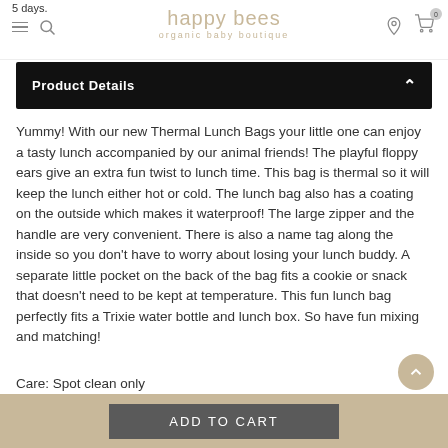5 days. happy bees organic baby boutique
Product Details
Yummy! With our new Thermal Lunch Bags your little one can enjoy a tasty lunch accompanied by our animal friends! The playful floppy ears give an extra fun twist to lunch time. This bag is thermal so it will keep the lunch either hot or cold. The lunch bag also has a coating on the outside which makes it waterproof! The large zipper and the handle are very convenient. There is also a name tag along the inside so you don't have to worry about losing your lunch buddy. A separate little pocket on the back of the bag fits a cookie or snack that doesn't need to be kept at temperature. This fun lunch bag perfectly fits a Trixie water bottle and lunch box. So have fun mixing and matching!
Care: Spot clean only